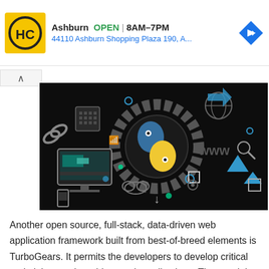[Figure (logo): HC auto parts logo: yellow square with black HC letters in circle]
Ashburn  OPEN | 8AM–7PM
44110 Ashburn Shopping Plaza 190, A...
[Figure (illustration): Python programming themed banner illustration on black background with Python snake logo, tech icons, www text, monitors, and network elements]
Another open source, full-stack, data-driven web application framework built from best-of-breed elements is TurboGears. It permits the developers to develop critical and elaborate data-driven web applications. The specialty of it – people can quickly create applications that require database connectivity